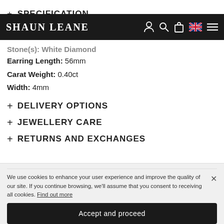SPECIFICATION
SHAUN LEANE
Stone(s): White Diamond
Earring Length: 56mm
Carat Weight: 0.40ct
Width: 4mm
+ DELIVERY OPTIONS
+ JEWELLERY CARE
+ RETURNS AND EXCHANGES
We use cookies to enhance your user experience and improve the quality of our site. If you continue browsing, we'll assume that you consent to receiving all cookies. Find out more
Accept and proceed